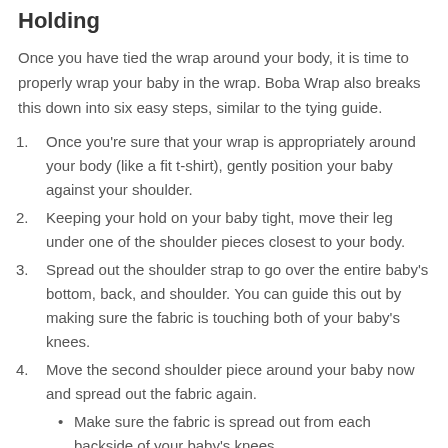Holding
Once you have tied the wrap around your body, it is time to properly wrap your baby in the wrap. Boba Wrap also breaks this down into six easy steps, similar to the tying guide.
Once you're sure that your wrap is appropriately around your body (like a fit t-shirt), gently position your baby against your shoulder.
Keeping your hold on your baby tight, move their leg under one of the shoulder pieces closest to your body.
Spread out the shoulder strap to go over the entire baby's bottom, back, and shoulder. You can guide this out by making sure the fabric is touching both of your baby's knees.
Move the second shoulder piece around your baby now and spread out the fabric again.
Make sure the fabric is spread out from each backside of your baby's knees.